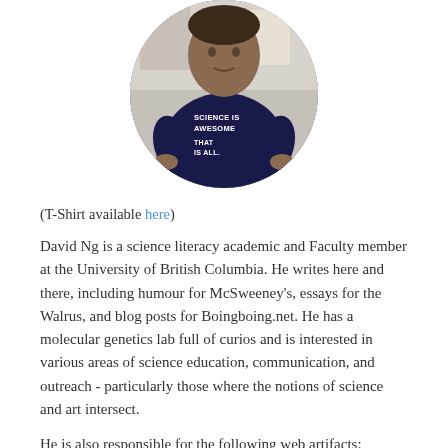[Figure (photo): Circular cropped photo of a man wearing a dark navy t-shirt that reads 'SCIENCE IS AWESOME THAT IS ALL.' He is standing with hands on hips in what appears to be a kitchen.]
(T-Shirt available here)
David Ng is a science literacy academic and Faculty member at the University of British Columbia. He writes here and there, including humour for McSweeney's, essays for the Walrus, and blog posts for Boingboing.net. He has a molecular genetics lab full of curios and is interested in various areas of science education, communication, and outreach - particularly those where the notions of science and art intersect.
He is also responsible for the following web artifacts: Phylomon Project |